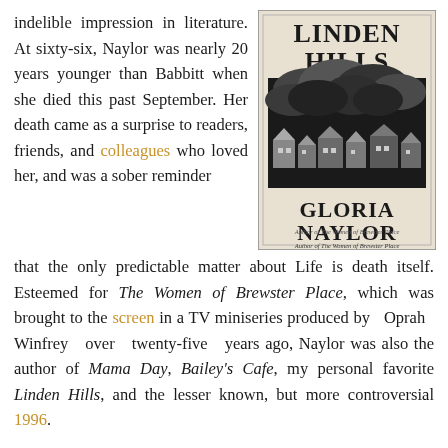indelible impression in literature. At sixty-six, Naylor was nearly 20 years younger than Babbitt when she died this past September. Her death came as a surprise to readers, friends, and colleagues who loved her, and was a sober reminder that the only predictable matter about Life is death itself. Esteemed for The Women of Brewster Place, which was brought to the screen in a TV miniseries produced by Oprah Winfrey over twenty-five years ago, Naylor was also the author of Mama Day, Bailey's Cafe, my personal favorite Linden Hills, and the lesser known, but more controversial 1996.
[Figure (illustration): Book cover of 'Linden Hills' by Gloria Naylor. Top has large bold text 'LINDEN HILLS'. Below is a dark illustration of houses with dramatic cloudy sky. Bottom has large bold text 'GLORIA NAYLOR' and subtitle 'Author of The Women of Brewster Place'.]